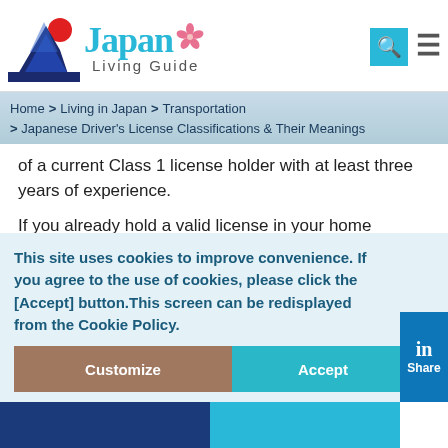Japan Living Guide
Home > Living in Japan > Transportation > Japanese Driver's License Classifications & Their Meanings
of a current Class 1 license holder with at least three years of experience.
If you already hold a valid license in your home country, you may be able to skip the learner's permit all together.
Class 1 License
This site uses cookies to improve convenience. If you agree to the use of cookies, please click the [Accept] button.This screen can be redisplayed from the Cookie Policy.